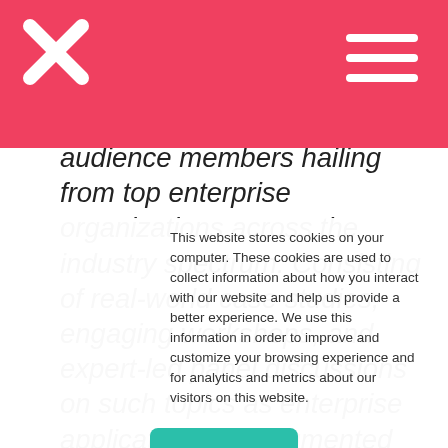audience members hailing from top enterprise organizations across the industry spectrum. Consisting of real-world case studies, engaging workshops, and expert-led panel discussions on such topics as enterprise applications for Augmented and Virtual Reality, head-mounted displays, and body-worn devices, plus key challenges, best practices, and more; EWTS is
This website stores cookies on your computer. These cookies are used to collect information about how you interact with our website and help us provide a better experience. We use this information in order to improve and customize your browsing experience and for analytics and metrics about our visitors on this website.
Got it!